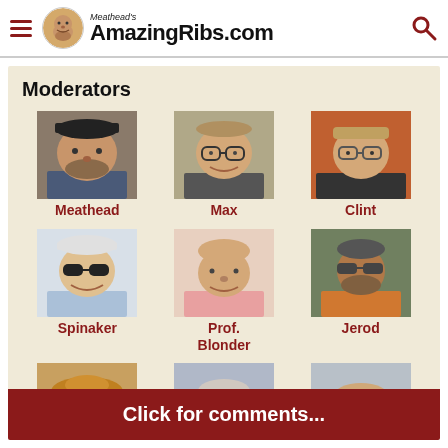Meathead's AmazingRibs.com
Moderators
[Figure (photo): Moderator profile photo: Meathead]
Meathead
[Figure (photo): Moderator profile photo: Max]
Max
[Figure (photo): Moderator profile photo: Clint]
Clint
[Figure (photo): Moderator profile photo: Spinaker]
Spinaker
[Figure (photo): Moderator profile photo: Prof. Blonder]
Prof. Blonder
[Figure (photo): Moderator profile photo: Jerod]
Jerod
[Figure (photo): Moderator profile photos: three more moderators (partial row)]
Click for comments...